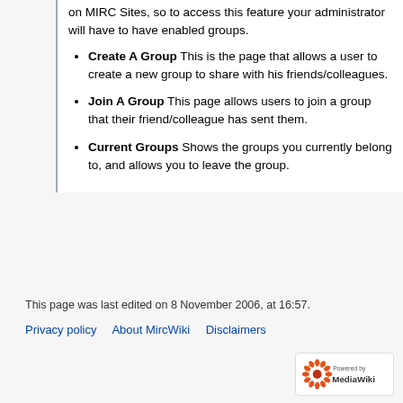on MIRC Sites, so to access this feature your administrator will have to have enabled groups.
Create A Group This is the page that allows a user to create a new group to share with his friends/colleagues.
Join A Group This page allows users to join a group that their friend/colleague has sent them.
Current Groups Shows the groups you currently belong to, and allows you to leave the group.
This page was last edited on 8 November 2006, at 16:57.
Privacy policy   About MircWiki   Disclaimers